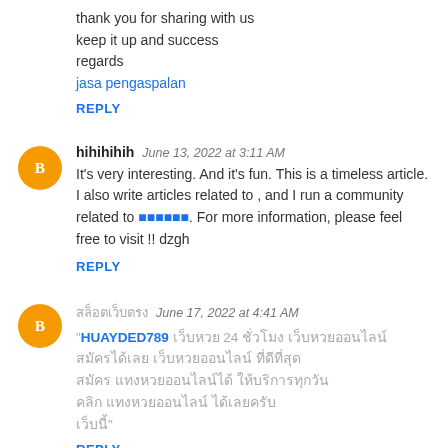thank you for sharing with us
keep it up and success
regards
jasa pengaspalan
REPLY
hihihihih  June 13, 2022 at 3:11 AM
It's very interesting. And it's fun. This is a timeless article. I also write articles related to , and I run a community related to [Thai text]. For more information, please feel free to visit !! dzgh
REPLY
[Thai name]  June 17, 2022 at 4:41 AM
"HUAYDED789 [Thai text] 24 [Thai text] [Thai text] [Thai text]"